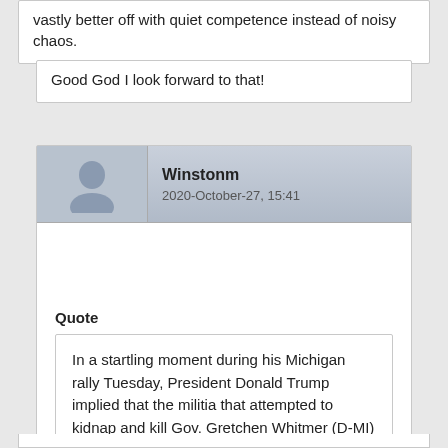vastly better off with quiet competence instead of noisy chaos.
Good God I look forward to that!
Winstonm
2020-October-27, 15:41
Quote
In a startling moment during his Michigan rally Tuesday, President Donald Trump implied that the militia that attempted to kidnap and kill Gov. Gretchen Whitmer (D-MI) was maybe or maybe not all that big of a problem.

“People are entitled to say maybe it was a problem, maybe it wasn’t,” Trump told his rally.